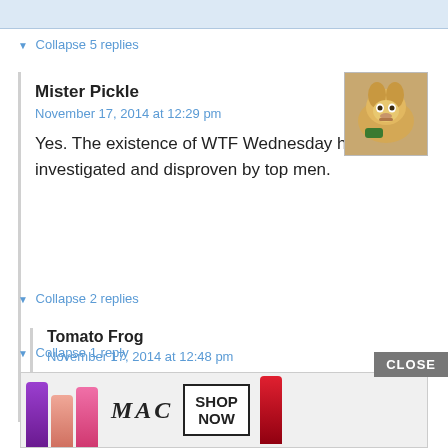▼ Collapse 5 replies
Mister Pickle
November 17, 2014 at 12:29 pm
Yes. The existence of WTF Wednesday has been investigated and disproven by top men.
[Figure (photo): Avatar photo of a golden retriever dog]
▼ Collapse 2 replies
Tomato Frog
November 17, 2014 at 12:48 pm
Top. Men.
▼ Collapse 1 reply
[Figure (screenshot): MAC cosmetics advertisement showing lipsticks with SHOP NOW button and CLOSE button]